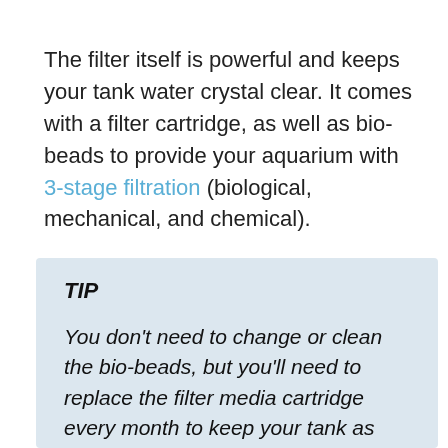The filter itself is powerful and keeps your tank water crystal clear. It comes with a filter cartridge, as well as bio-beads to provide your aquarium with 3-stage filtration (biological, mechanical, and chemical).
TIP
You don't need to change or clean the bio-beads, but you'll need to replace the filter media cartridge every month to keep your tank as clean as possible.